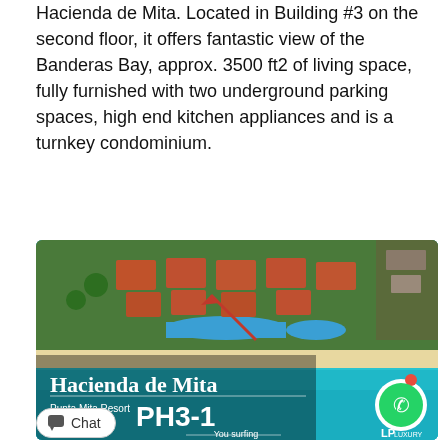Hacienda de Mita. Located in Building #3 on the second floor, it offers fantastic view of the Banderas Bay, approx. 3500 ft2 of living space, fully furnished with two underground parking spaces, high end kitchen appliances and is a turnkey condominium.
[Figure (photo): Aerial photo of Hacienda de Mita resort complex at Punta Mita Resort, Mexico, showing orange-roofed buildings, swimming pools, beach and turquoise ocean. Overlaid text reads 'Hacienda de Mita', 'Punta Mita Resort MEXICO', 'PH3-1'. A red arrow points to the building. WhatsApp icon visible bottom right. LP Luxury logo bottom right. Chat button and 'You surfing' text at bottom.]